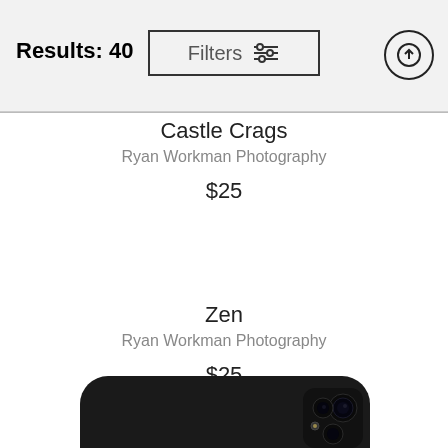Results: 40
Filters
Castle Crags
Ryan Workman Photography
$25
Zen
Ryan Workman Photography
$25
[Figure (photo): Partial view of a dark/black smartphone from above showing the camera module]